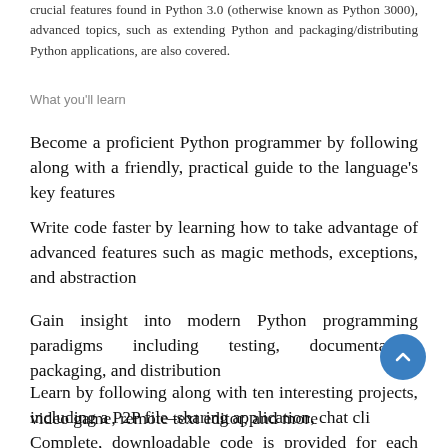crucial features found in Python 3.0 (otherwise known as Python 3000), advanced topics, such as extending Python and packaging/distributing Python applications, are also covered.
What you'll learn
Become a proficient Python programmer by following along with a friendly, practical guide to the language's key features
Write code faster by learning how to take advantage of advanced features such as magic methods, exceptions, and abstraction
Gain insight into modern Python programming paradigms including testing, documentation, packaging, and distribution
Learn by following along with ten interesting projects, including a P2P file–sharing application, chat client, video game, remote text editor, and more
Complete, downloadable code is provided for each project!